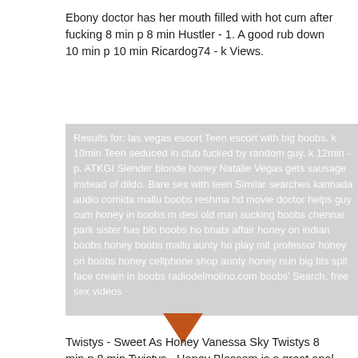Ebony doctor has her mouth filled with hot cum after fucking 8 min p 8 min Hustler - 1. A good rub down 10 min p 10 min Ricardog74 - k Views.
[Figure (screenshot): Gray overlay box with white text showing search results for 'las vegas escort Teen escort with big boobs. k 10min Teen seduced in club fucked by random guy. k 12min - p. ATKGI Slender blonde honey Natalie Vegas gets sausage instead of dildo. Bare sex with teen Similar searches kannada audio comida mallu boobs reshma hd movie doctor helps guy cum honey in boobs m desi old man sucking boobs chennai park sister has bib boobs ho bhabi affair honey on indian boobs honey boobs mallu aunty ho play mit professor honey on boobs honey cellphone shop aunty honey nun big tits spit face cream in boobs radiodelmolino.com boobs' Search, free sex videos' with a red/orange arrow pointing down at the bottom.]
Twistys - Sweet As Honey Vanessa Sky Twistys 8 min p 8 min Twistys - Honey Blossom is a great anal cowgirl 6 min p 6 min Horny Angel Xxx - That ass though- MILF Honey blossom 8 min p 8 min MYLF Official - 2.